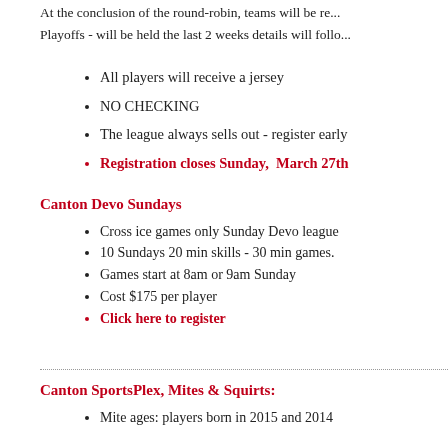At the conclusion of the round-robin, teams will be re...
Playoffs - will be held the last 2 weeks details will follo...
All players will receive a jersey
NO CHECKING
The league always sells out - register early
Registration closes Sunday,  March 27th
Canton Devo Sundays
Cross ice games only Sunday Devo league
10 Sundays 20 min skills - 30 min games.
Games start at 8am or 9am Sunday
Cost $175 per player
Click here to register
Canton SportsPlex, Mites & Squirts:
Mite ages: players born in 2015 and 2014...